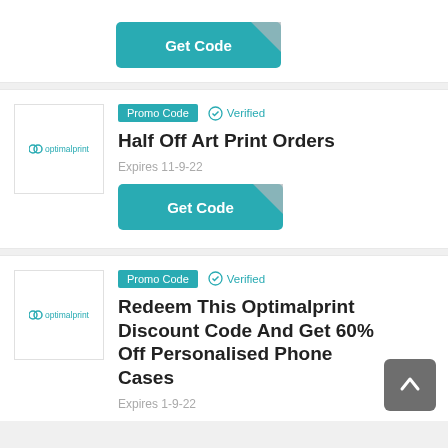[Figure (screenshot): Partial top coupon card showing a 'Get Code' teal button with corner fold]
[Figure (logo): Optimalprint logo in teal]
Promo Code
✓ Verified
Half Off Art Print Orders
Expires 11-9-22
[Figure (screenshot): Get Code teal button with corner fold effect]
[Figure (logo): Optimalprint logo in teal]
Promo Code
✓ Verified
Redeem This Optimalprint Discount Code And Get 60% Off Personalised Phone Cases
Expires 1-9-22